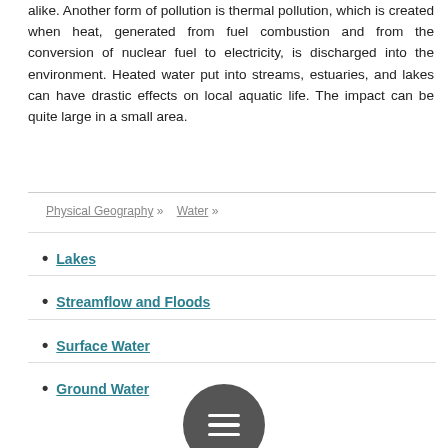alike. Another form of pollution is thermal pollution, which is created when heat, generated from fuel combustion and from the conversion of nuclear fuel to electricity, is discharged into the environment. Heated water put into streams, estuaries, and lakes can have drastic effects on local aquatic life. The impact can be quite large in a small area.
Physical Geography » Water »
Lakes
Streamflow and Floods
Surface Water
Ground Water
[Figure (other): Dark circular menu button with three horizontal white lines (hamburger menu icon)]